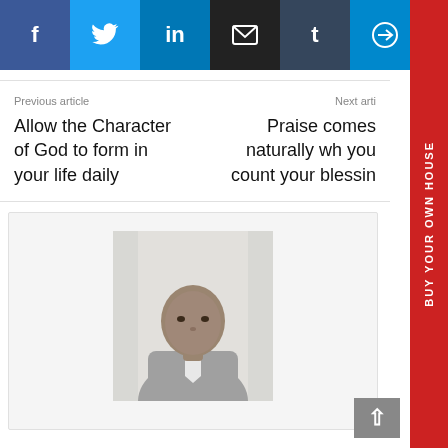[Figure (other): Social media share bar with Facebook, Twitter, LinkedIn, Email, Tumblr, Telegram, Mix, and More buttons]
[Figure (other): Red vertical sidebar tab with text BUY YOUR OWN HOUSE]
Previous article
Allow the Character of God to form in your life daily
Next article
Praise comes naturally when you count your blessings
[Figure (photo): Author photo - a man in a suit, grayscale/faded]
https://jesus.bingo
[Figure (other): Author social media icons: Facebook, Email, PayPal, Yahoo]